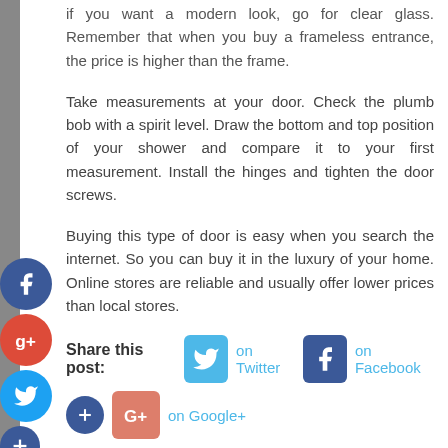if you want a modern look, go for clear glass. Remember that when you buy a frameless entrance, the price is higher than the frame.
Take measurements at your door. Check the plumb bob with a spirit level. Draw the bottom and top position of your shower and compare it to your first measurement. Install the hinges and tighten the door screws.
Buying this type of door is easy when you search the internet. So you can buy it in the luxury of your home. Online stores are reliable and usually offer lower prices than local stores.
Share this post: on Twitter on Facebook on Google+
Tagged glass and mirror company, glass company, shower door installation